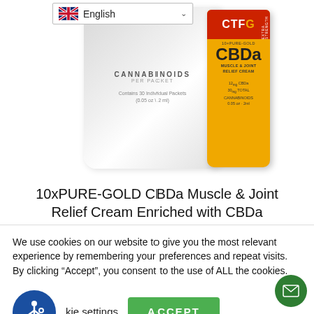[Figure (screenshot): Product image showing two packets: a white CTFO cannabinoids per packet product and an orange/gold CTFO 10xPURE-GOLD CBDa Muscle & Joint Relief Cream packet]
10xPURE-GOLD CBDa Muscle & Joint Relief Cream Enriched with CBDa
$44.97 (strikethrough original price)
$29.97 (sale price)
SHOP NOW
We use cookies on our website to give you the most relevant experience by remembering your preferences and repeat visits. By clicking “Accept”, you consent to the use of ALL the cookies.
Cookie settings
ACCEPT